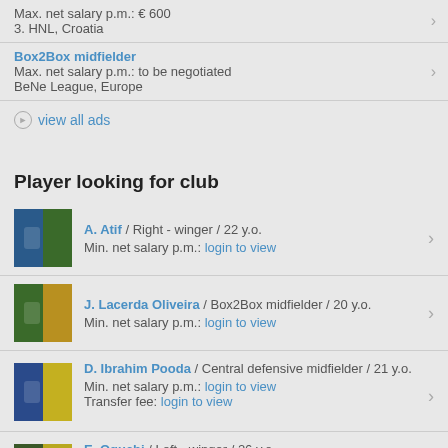Max. net salary p.m.: € 600
3. HNL, Croatia
Box2Box midfielder
Max. net salary p.m.: to be negotiated
BeNe League, Europe
▶ view all ads
Player looking for club
A. Atif / Right - winger / 22 y.o.
Min. net salary p.m.: login to view
J. Lacerda Oliveira / Box2Box midfielder / 20 y.o.
Min. net salary p.m.: login to view
D. Ibrahim Pooda / Central defensive midfielder / 21 y.o.
Min. net salary p.m.: login to view
Transfer fee: login to view
E. Oguchi / Left - winger / 26 y.o.
Min. net salary p.m.: login to view
Transfer fee: login to view